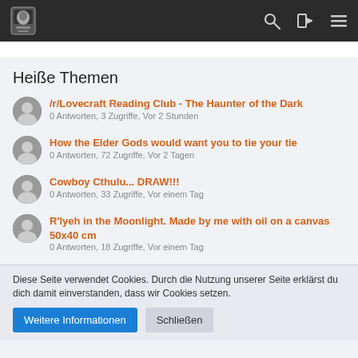Navigation bar with logo, search, login, and menu icons
Heiße Themen
/r/Lovecraft Reading Club - The Haunter of the Dark
0 Antworten, 3 Zugriffe, Vor 2 Stunden
How the Elder Gods would want you to tie your tie
0 Antworten, 72 Zugriffe, Vor 2 Tagen
Cowboy Cthulu... DRAW!!!
0 Antworten, 33 Zugriffe, Vor einem Tag
R'lyeh in the Moonlight. Made by me with oil on a canvas 50x40 cm
0 Antworten, 18 Zugriffe, Vor einem Tag
Diese Seite verwendet Cookies. Durch die Nutzung unserer Seite erklärst du dich damit einverstanden, dass wir Cookies setzen.
Weitere Informationen | Schließen